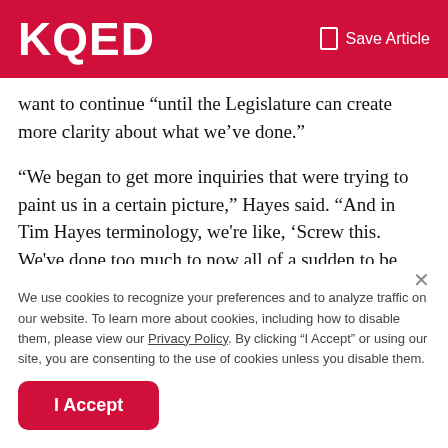KQED  Save Article
want to continue “until the Legislature can create more clarity about what we’ve done.”
“We began to get more inquiries that were trying to paint us in a certain picture,” Hayes said. “And in Tim Hayes terminology, we're like, ‘Screw this. We've done too much to now all of a sudden to be backed into a corner.’”
According to property records, Southside’s last two
We use cookies to recognize your preferences and to analyze traffic on our website. To learn more about cookies, including how to disable them, please view our Privacy Policy. By clicking “I Accept” or using our site, you are consenting to the use of cookies unless you disable them.
I Accept